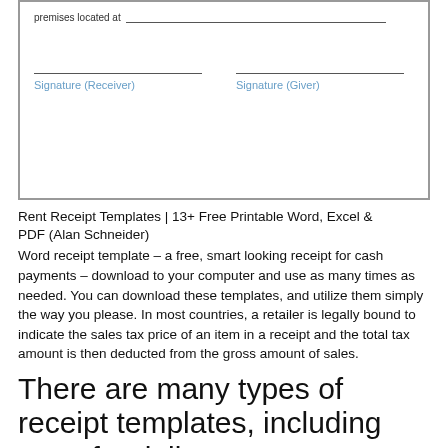[Figure (other): Partial rent receipt form showing 'premises located at' line and two signature fields labeled 'Signature (Receiver)' and 'Signature (Giver)']
Rent Receipt Templates | 13+ Free Printable Word, Excel & PDF (Alan Schneider)
Word receipt template – a free, smart looking receipt for cash payments – download to your computer and use as many times as needed. You can download these templates, and utilize them simply the way you please. In most countries, a retailer is legally bound to indicate the sales tax price of an item in a receipt and the total tax amount is then deducted from the gross amount of sales.
There are many types of receipt templates, including ones for delivery.
In most countries, a retailer is legally bound to indicate the